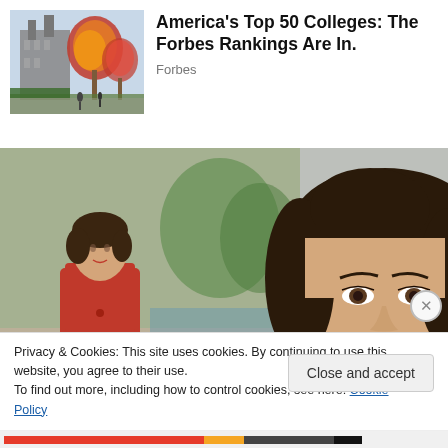[Figure (photo): Autumn campus scene with colorful trees and Gothic architecture building in background]
America's Top 50 Colleges: The Forbes Rankings Are In.
Forbes
[Figure (photo): Two photos of a young woman (Jackie Kennedy): left shows full body in red dress, right is a close-up portrait with dark hair and pearl earring]
Privacy & Cookies: This site uses cookies. By continuing to use this website, you agree to their use.
To find out more, including how to control cookies, see here: Cookie Policy
Close and accept